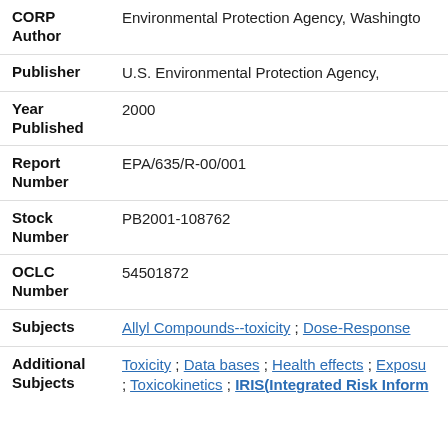CORP
Author: Environmental Protection Agency, Washington
Publisher: U.S. Environmental Protection Agency,
Year Published: 2000
Report Number: EPA/635/R-00/001
Stock Number: PB2001-108762
OCLC Number: 54501872
Subjects: Allyl Compounds--toxicity ; Dose-Response
Additional Subjects: Toxicity ; Data bases ; Health effects ; Exposure ; Toxicokinetics ; IRIS(Integrated Risk Inform